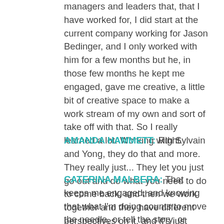managers and leaders that, that I have worked for, I did start at the current company working for Jason Bedinger, and I only worked with him for a few months but he, in those few months he kept me engaged, gave me creative, a little bit of creative space to make a work stream of my own and sort of take off with that. So I really learned a lot. Working with Sylvain and Yong, they do that and more. They really just... They let you just go out and do what you need to do to come back, and then we work together and they have different perspectives on it, and it's just something, that sense of purpose?
AMANDA HAMMETT: Right.
CATERINA MALBERA: That keeps me engaged, and knowing that what I'm doing counts to move the needle, or tell the story, or